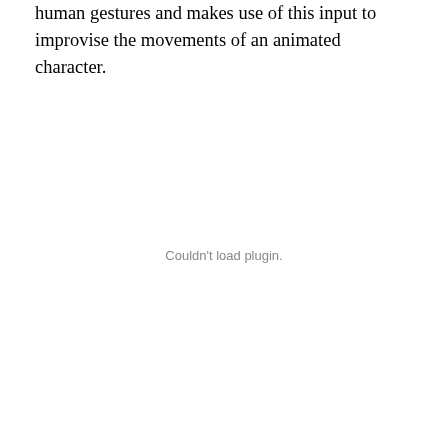human gestures and makes use of this input to improvise the movements of an animated character.
[Figure (other): Embedded plugin area showing 'Couldn't load plugin.' message — a video or interactive media embed that failed to load.]